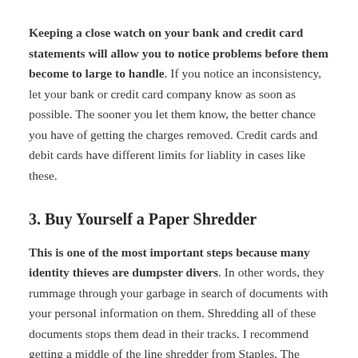Keeping a close watch on your bank and credit card statements will allow you to notice problems before them become to large to handle. If you notice an inconsistency, let your bank or credit card company know as soon as possible. The sooner you let them know, the better chance you have of getting the charges removed. Credit cards and debit cards have different limits for liablity in cases like these.
3. Buy Yourself a Paper Shredder
This is one of the most important steps because many identity thieves are dumpster divers. In other words, they rummage through your garbage in search of documents with your personal information on them. Shredding all of these documents stops them dead in their tracks. I recommend getting a middle of the line shredder from Staples. The larger ones can handle more pages and